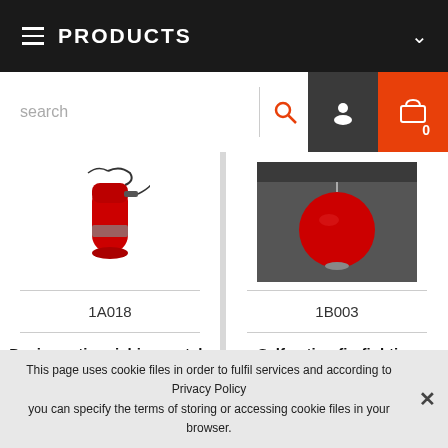PRODUCTS
[Figure (screenshot): Search bar with search icon, user icon, and shopping cart icon with badge 0]
[Figure (photo): Red fire extinguisher with electrical wire attached]
1A018
Device extinguishing metals UGM-12x D
[Figure (photo): Red spherical self-acting firefighting device mounted on dark surface]
1B003
Self-acting firefighting device 10kg (SUG-10X ABC)
This page uses cookie files in order to fulfil services and according to Privacy Policy you can specify the terms of storing or accessing cookie files in your browser.